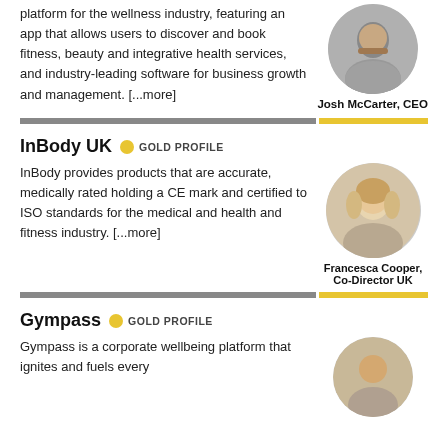platform for the wellness industry, featuring an app that allows users to discover and book fitness, beauty and integrative health services, and industry-leading software for business growth and management. [...more]
[Figure (photo): Circular headshot of Josh McCarter, CEO]
Josh McCarter, CEO
InBody UK  GOLD PROFILE
InBody provides products that are accurate, medically rated holding a CE mark and certified to ISO standards for the medical and health and fitness industry. [...more]
[Figure (photo): Circular headshot of Francesca Cooper, Co-Director UK]
Francesca Cooper, Co-Director UK
Gympass  GOLD PROFILE
Gympass is a corporate wellbeing platform that ignites and fuels every